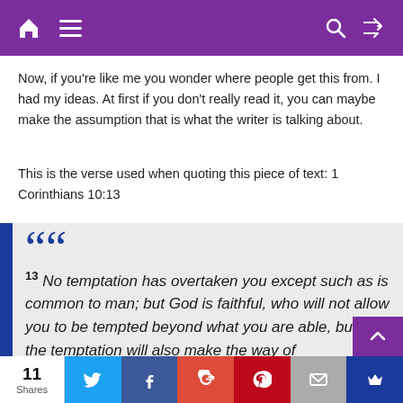Navigation bar with home, menu, search, and shuffle icons
Now, if you’re like me you wonder where people get this from. I had my ideas. At first if you don’t really read it, you can maybe make the assumption that is what the writer is talking about.
This is the verse used when quoting this piece of text: 1 Corinthians 10:13
““ 13 No temptation has overtaken you except such as is common to man; but God is faithful, who will not allow you to be tempted beyond what you are able, but with the temptation will also make the way of
11 Shares | Twitter | Facebook | Google+ | Pinterest | Email | Crown